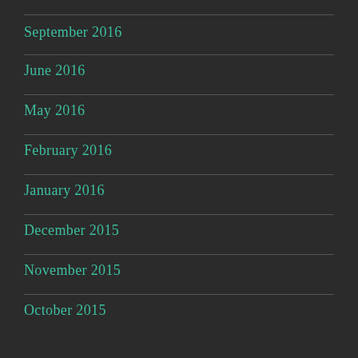September 2016
June 2016
May 2016
February 2016
January 2016
December 2015
November 2015
October 2015